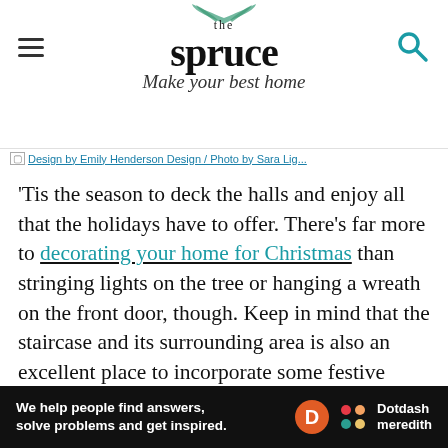the spruce – Make your best home
Design by Emily Henderson Design / Photo by Sara Lig...
'Tis the season to deck the halls and enjoy all that the holidays have to offer. There's far more to decorating your home for Christmas than stringing lights on the tree or hanging a wreath on the front door, though. Keep in mind that the staircase and its surrounding area is also an excellent place to incorporate some festive touches.
No matter whether your staircase is on the
[Figure (logo): Dotdash Meredith advertisement bar: 'We help people find answers, solve problems and get inspired.' with D circle logo and Dotdash meredith logo]